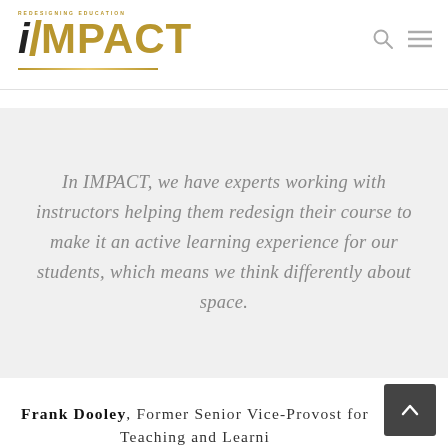[Figure (logo): IMPACT Redesigning Education logo with gold slash and gold text on left, search and menu icons on right]
In IMPACT, we have experts working with instructors helping them redesign their course to make it an active learning experience for our students, which means we think differently about space.
Frank Dooley, Former Senior Vice-Provost for Teaching and Learning